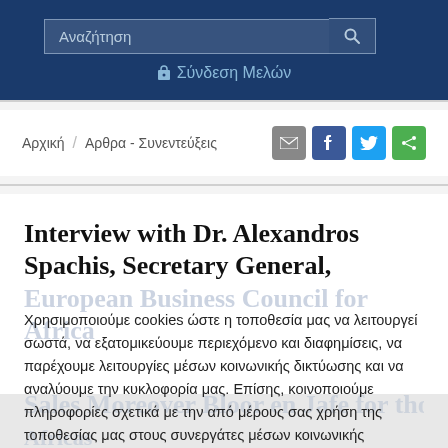Αναζήτηση | Σύνδεση Μελών
Αρχική / Αρθρα - Συνεντεύξεις
Interview with Dr. Alexandros Spachis, Secretary General, European Business Council for Africa
Χρησιμοποιούμε cookies ώστε η τοποθεσία μας να λειτουργεί σωστά, να εξατομικεύουμε περιεχόμενο και διαφημίσεις, να παρέχουμε λειτουργίες μέσων κοινωνικής δικτύωσης και να αναλύουμε την κυκλοφορία μας. Επίσης, κοινοποιούμε πληροφορίες σχετικά με την από μέρους σας χρήση της τοποθεσίας μας στους συνεργάτες μέσων κοινωνικής